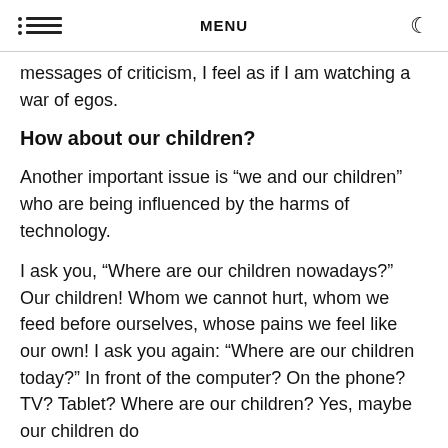MENU
messages of criticism, I feel as if I am watching a war of egos.
How about our children?
Another important issue is “we and our children” who are being influenced by the harms of technology.
I ask you, “Where are our children nowadays?” Our children! Whom we cannot hurt, whom we feed before ourselves, whose pains we feel like our own! I ask you again: “Where are our children today?” In front of the computer? On the phone? TV? Tablet? Where are our children? Yes, maybe our children do